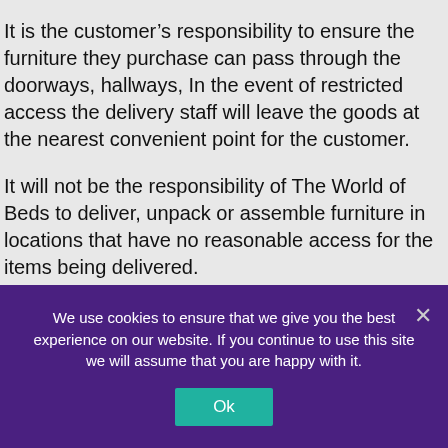It is the customer's responsibility to ensure the furniture they purchase can pass through the doorways, hallways, In the event of restricted access the delivery staff will leave the goods at the nearest convenient point for the customer.
It will not be the responsibility of The World of Beds to deliver, unpack or assemble furniture in locations that have no reasonable access for the items being delivered.
A residential phone number must be provided for all orders placed, and this number must be for the address on the order, and in the name of the person placing the order. We must also
We use cookies to ensure that we give you the best experience on our website. If you continue to use this site we will assume that you are happy with it.